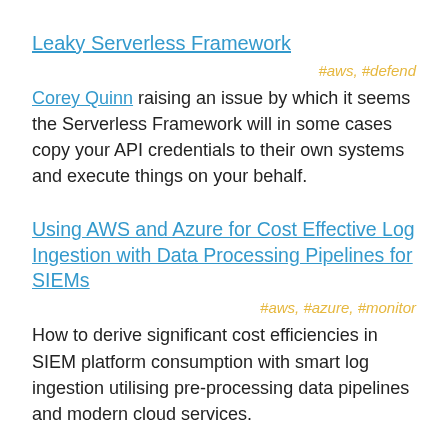Leaky Serverless Framework
#aws, #defend
Corey Quinn raising an issue by which it seems the Serverless Framework will in some cases copy your API credentials to their own systems and execute things on your behalf.
Using AWS and Azure for Cost Effective Log Ingestion with Data Processing Pipelines for SIEMs
#aws, #azure, #monitor
How to derive significant cost efficiencies in SIEM platform consumption with smart log ingestion utilising pre-processing data pipelines and modern cloud services.
Identity Security Monitoring in Microsoft Cloud